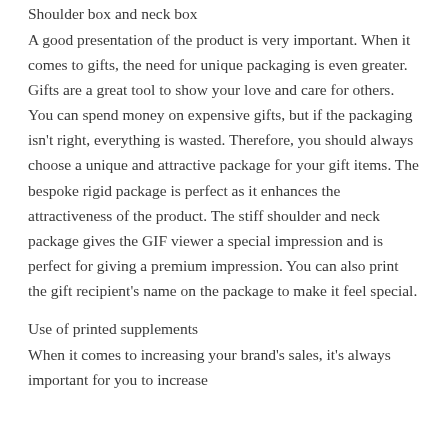Shoulder box and neck box
A good presentation of the product is very important. When it comes to gifts, the need for unique packaging is even greater. Gifts are a great tool to show your love and care for others. You can spend money on expensive gifts, but if the packaging isn't right, everything is wasted. Therefore, you should always choose a unique and attractive package for your gift items. The bespoke rigid package is perfect as it enhances the attractiveness of the product. The stiff shoulder and neck package gives the GIF viewer a special impression and is perfect for giving a premium impression. You can also print the gift recipient's name on the package to make it feel special.
Use of printed supplements
When it comes to increasing your brand's sales, it's always important for you to increase